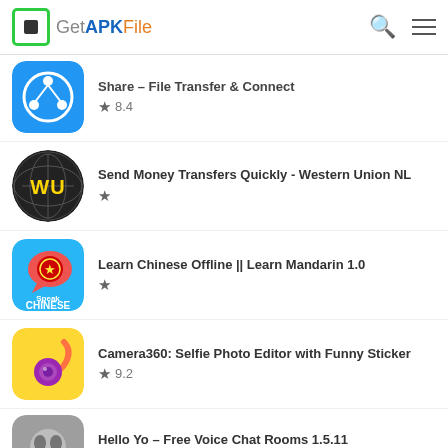GetAPKFile
Share - File Transfer & Connect ★ 8.4
Send Money Transfers Quickly - Western Union NL ★
Learn Chinese Offline || Learn Mandarin 1.0 ★
Camera360: Selfie Photo Editor with Funny Sticker ★ 9.2
Hello Yo – Free Voice Chat Rooms 1.5.11